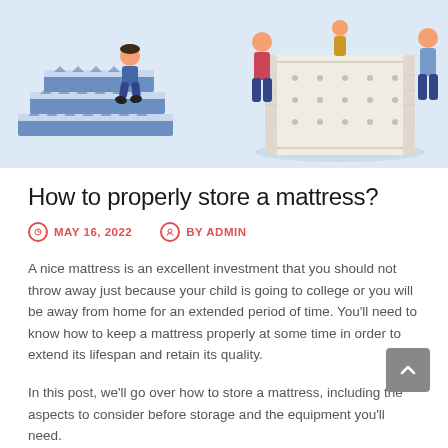[Figure (illustration): Illustration of people with mattresses: on the left, a person sitting on stacked mattresses on steps; on the right, a family standing around a large thick mattress on a light blue background.]
How to properly store a mattress?
MAY 16, 2022   BY ADMIN
A nice mattress is an excellent investment that you should not throw away just because your child is going to college or you will be away from home for an extended period of time. You'll need to know how to keep a mattress properly at some time in order to extend its lifespan and retain its quality.
In this post, we'll go over how to store a mattress, including the aspects to consider before storage and the equipment you'll need.
So, without further ado, let's get started.